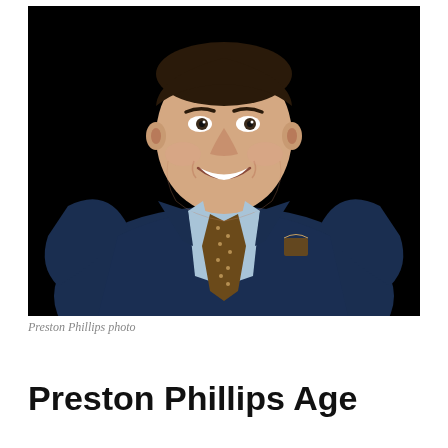[Figure (photo): Professional headshot of Preston Phillips, a man in a dark navy blue blazer with a light blue shirt and a brown polka-dot tie and matching pocket square, smiling against a black background.]
Preston Phillips photo
Preston Phillips Age